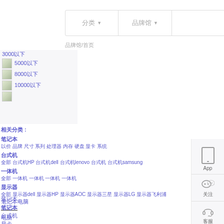分类 ▼ | 品牌馆 ▼ |
品牌馆/首页
3000以下
5000以下
8000以下
10000以下
相关分类 :
笔记本
以价 品牌 尺寸 系列 处理器 内存 硬盘 显卡 系统
台式机
全部 台式机HP 台式机dell 台式机lenovo 台式机 台式机samsung
一体机
全部 一体机 一体机 一体机 一体机
显示器
全部 显示器dell 显示器HP 显示器AOC 显示器三星 显示器LG 显示器飞利浦
笔记本电脑
笔记本
笔记本
台式机
显卡
电脑